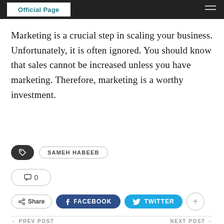Official Page
Marketing is a crucial step in scaling your business. Unfortunately, it is often ignored. You should know that sales cannot be increased unless you have marketing. Therefore, marketing is a worthy investment.
SAMEH HABEEB
0
Share  FACEBOOK  TWITTER
← PREV POST
WHAT IS FREEBIE MARKETING?
NEXT POST →
HOW TO RUN A PR CAMPAIGN